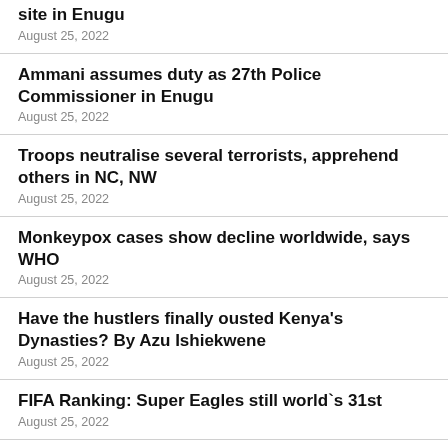site in Enugu
August 25, 2022
Ammani assumes duty as 27th Police Commissioner in Enugu
August 25, 2022
Troops neutralise several terrorists, apprehend others in NC, NW
August 25, 2022
Monkeypox cases show decline worldwide, says WHO
August 25, 2022
Have the hustlers finally ousted Kenya's Dynasties? By Azu Ishiekwene
August 25, 2022
FIFA Ranking: Super Eagles still world`s 31st
August 25, 2022
PDP ready to takeover Cross River in 2023: Chairman